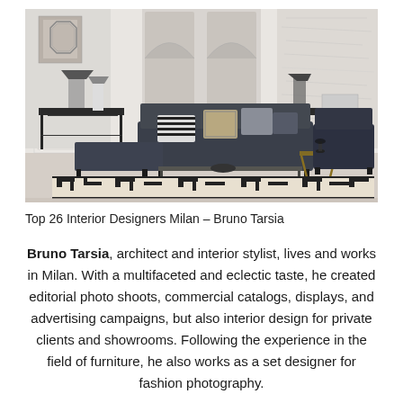[Figure (photo): Elegant interior design photo showing a luxurious living room with dark navy/charcoal sofa, geometric patterned rug in black and white, glass and metal coffee table, gold accent side table, navy armchair, dark console table with decorative lamps, and intricate wall murals with arched architectural panels in white. The room exudes sophisticated, contemporary design.]
Top 26 Interior Designers Milan – Bruno Tarsia
Bruno Tarsia, architect and interior stylist, lives and works in Milan. With a multifaceted and eclectic taste, he created editorial photo shoots, commercial catalogs, displays, and advertising campaigns, but also interior design for private clients and showrooms. Following the experience in the field of furniture, he also works as a set designer for fashion photography.